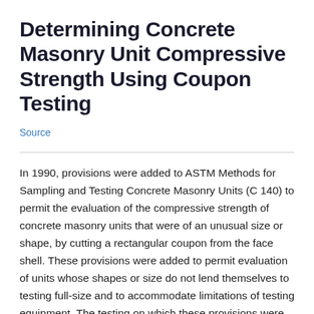Determining Concrete Masonry Unit Compressive Strength Using Coupon Testing
Source
In 1990, provisions were added to ASTM Methods for Sampling and Testing Concrete Masonry Units (C 140) to permit the evaluation of the compressive strength of concrete masonry units that were of an unusual size or shape, by cutting a rectangular coupon from the face shell. These provisions were added to permit evaluation of units whose shapes or size do not lend themselves to testing full-size and to accommodate limitations of testing equipment. The testing on which these provisions were based have not previously been published in a peer-reviewed journal or